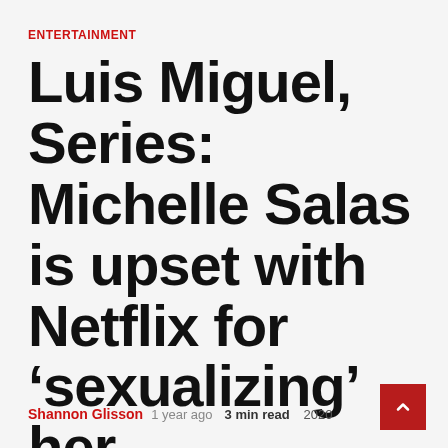ENTERTAINMENT
Luis Miguel, Series: Michelle Salas is upset with Netflix for ‘sexualizing’ her
Shannon Glisson  1 year ago  3 min read  👁 2020